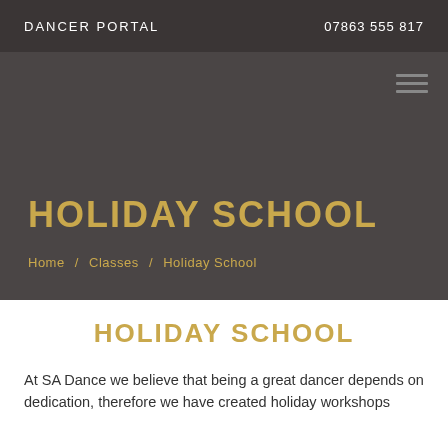DANCER PORTAL   07863 555 817
HOLIDAY SCHOOL
Home / Classes / Holiday School
HOLIDAY SCHOOL
At SA Dance we believe that being a great dancer depends on dedication, therefore we have created holiday workshops